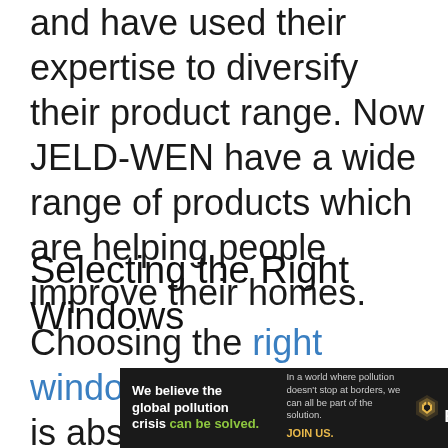and have used their expertise to diversify their product range. Now JELD-WEN have a wide range of products which are helping people improve their homes.
Selecting the Right Windows
Choosing the right windows for your home is absolutely crucial. With the
[Figure (infographic): Advertisement banner for Pure Earth. Left dark section reads 'We believe the global pollution crisis can be solved.' with 'can be solved.' in green. Middle section reads 'In a world where pollution doesn't stop at borders, we can all be part of the solution. JOIN US.' with JOIN US in gold/yellow. Right section shows Pure Earth logo with orange/yellow diamond-chevron icon and white text 'PURE EARTH'.]